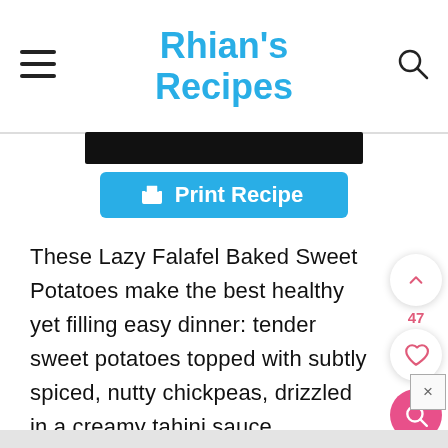Rhian's Recipes
[Figure (screenshot): Black button bar (partially visible, cropped at top)]
[Figure (screenshot): Blue 'Print Recipe' button with printer icon]
These Lazy Falafel Baked Sweet Potatoes make the best healthy yet filling easy dinner: tender sweet potatoes topped with subtly spiced, nutty chickpeas, drizzled in a creamy tahini sauce.